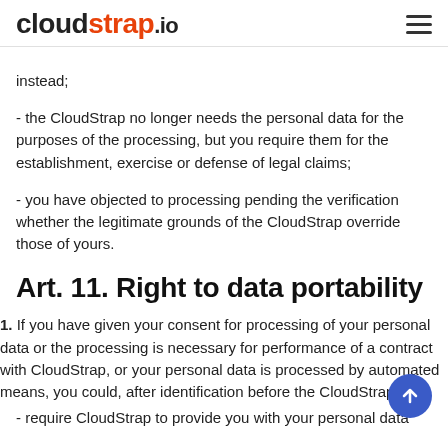cloudstrap.io
instead;
- the CloudStrap no longer needs the personal data for the purposes of the processing, but you require them for the establishment, exercise or defense of legal claims;
- you have objected to processing pending the verification whether the legitimate grounds of the CloudStrap override those of yours.
Art. 11. Right to data portability
1. If you have given your consent for processing of your personal data or the processing is necessary for performance of a contract with CloudStrap, or your personal data is processed by automated means, you could, after identification before the CloudStrap:
- require CloudStrap to provide you with your personal data